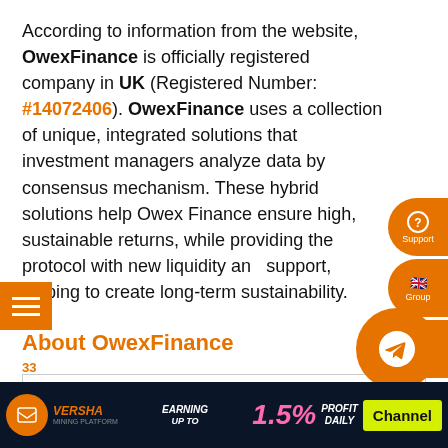According to information from the website, OwexFinance is officially registered company in UK (Registered Number: #14072406). OwexFinance uses a collection of unique, integrated solutions that investment managers analyze data by consensus mechanism. These hybrid solutions help Owex Finance ensure high, sustainable returns, while providing the protocol with new liquidity and support, helping to create long-term sustainability.
About OwexFinance
|  |  |
| --- | --- |
| Official launch | May 16, 2022 |
| Language | English |
[Figure (other): Bottom advertisement banner for OVERSHA mining platform: EARNING UP TO 1.5% PROFIT DAILY with Channel button]